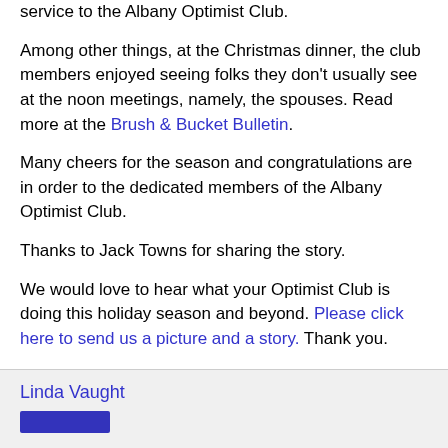service to the Albany Optimist Club.
Among other things, at the Christmas dinner, the club members enjoyed seeing folks they don't usually see at the noon meetings, namely, the spouses. Read more at the Brush & Bucket Bulletin.
Many cheers for the season and congratulations are in order to the dedicated members of the Albany Optimist Club.
Thanks to Jack Towns for sharing the story.
We would love to hear what your Optimist Club is doing this holiday season and beyond. Please click here to send us a picture and a story. Thank you.
Linda Vaught